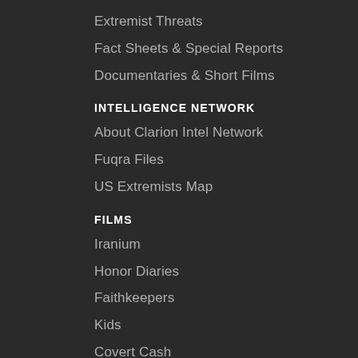Extremist Threats
Fact Sheets & Special Reports
Documentaries & Short Films
INTELLIGENCE NETWORK
About Clarion Intel Network
Fuqra Files
US Extremists Map
FILMS
Iranium
Honor Diaries
Faithkeepers
Kids
Covert Cash
Short Films
CONTACT US